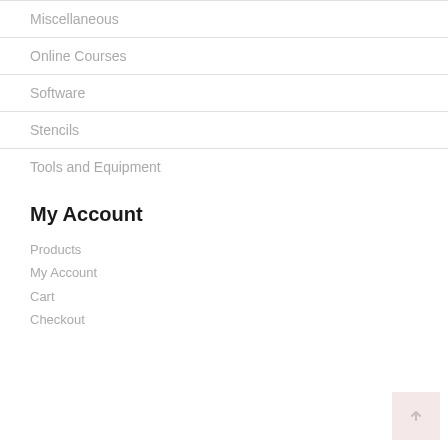Miscellaneous
Online Courses
Software
Stencils
Tools and Equipment
My Account
Products
My Account
Cart
Checkout